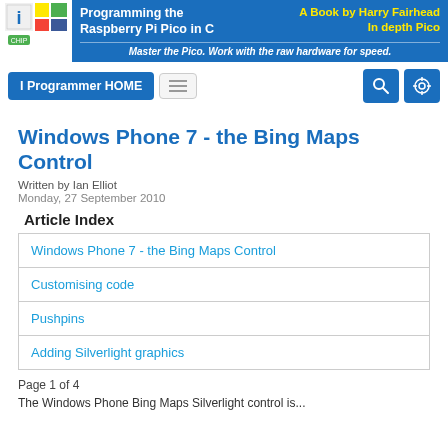[Figure (logo): I Programmer logo with colorful grid squares and a green chip icon]
Programming the Raspberry Pi Pico in C | A Book by Harry Fairhead In depth Pico | Master the Pico. Work with the raw hardware for speed.
I Programmer HOME [menu] [search] [settings]
Windows Phone 7 - the Bing Maps Control
Written by Ian Elliot
Monday, 27 September 2010
Article Index
| Windows Phone 7 - the Bing Maps Control |
| Customising code |
| Pushpins |
| Adding Silverlight graphics |
Page 1 of 4
The Windows Phone Bing Maps Silverlight control is...